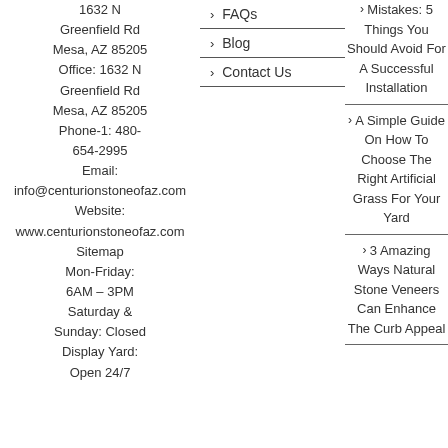1632 N Greenfield Rd Mesa, AZ 85205 Office: 1632 N Greenfield Rd Mesa, AZ 85205 Phone-1: 480-654-2995 Email: info@centurionstoneofaz.com Website: www.centurionstoneofaz.com Sitemap Mon-Friday: 6AM – 3PM Saturday & Sunday: Closed Display Yard: Open 24/7
FAQs
Blog
Contact Us
Mistakes: 5 Things You Should Avoid For A Successful Installation
A Simple Guide On How To Choose The Right Artificial Grass For Your Yard
3 Amazing Ways Natural Stone Veneers Can Enhance The Curb Appeal